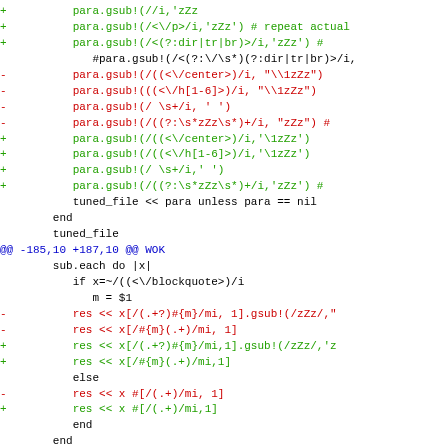Code diff showing changes to Ruby gsub regular expression calls and res/sub operations
@@ -185,10 +187,10 @@ WOK
@@ -197,26 +199,27 @@ WOK